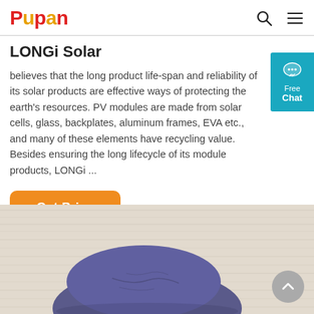Pupan
LONGi Solar
believes that the long product life-span and reliability of its solar products are effective ways of protecting the earth's resources. PV modules are made from solar cells, glass, backplates, aluminum frames, EVA etc., and many of these elements have recycling value. Besides ensuring the long lifecycle of its module products, LONGi ...
[Figure (other): Get Price orange button]
[Figure (photo): Blue clay or dough-like object resting on a light wooden surface, partially visible from below. A gray circular back-to-top arrow button overlaid in bottom right.]